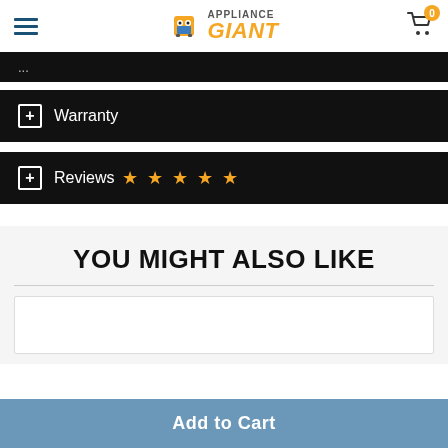[Figure (logo): Appliance Giant logo with mascot character and orange GIANT text]
Warranty
Reviews ☆☆☆☆☆
YOU MIGHT ALSO LIKE
Add to Cart